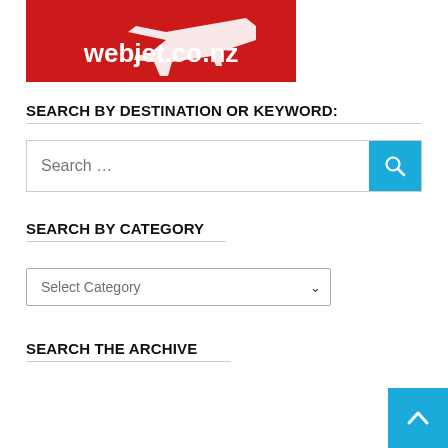[Figure (logo): Webjet.co.nz advertisement banner with airplane image and red background showing white text 'webjet.co.nz']
SEARCH BY DESTINATION OR KEYWORD:
[Figure (screenshot): Search input box with placeholder text 'Search ...' and a cyan search button with magnifying glass icon]
SEARCH BY CATEGORY
[Figure (screenshot): Dropdown select box with 'Select Category' placeholder and dropdown arrow]
SEARCH THE ARCHIVE